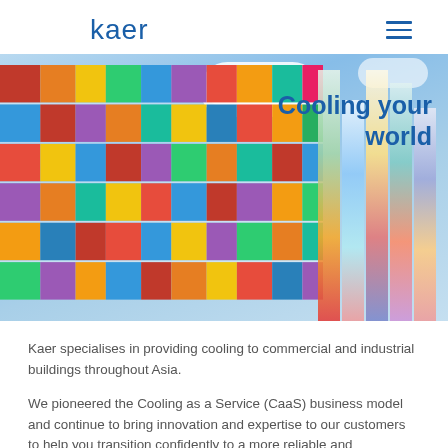kaer
[Figure (photo): Upward view of a colorful multi-colored tiled building facade curving against a blue sky with white clouds. Text overlay reads 'Cooling your world' in bold blue.]
Kaer specialises in providing cooling to commercial and industrial buildings throughout Asia.
We pioneered the Cooling as a Service (CaaS) business model and continue to bring innovation and expertise to our customers to help you transition confidently to a more reliable and